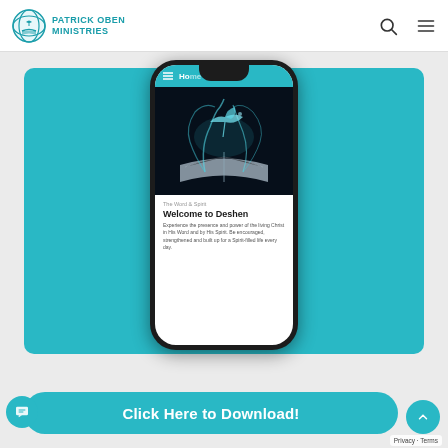PATRICK OBEN MINISTRIES
[Figure (screenshot): Smartphone mockup showing the Deshen app interface with a Bible and Holy Spirit dove imagery, on a teal background. The app screen shows 'The Word & Spirit', 'Welcome to Deshen', and a description about experiencing the presence and power of the living Christ.]
The Word & Spirit
Welcome to Deshen
Experience the presence and power of the living Christ in His Word and by His Spirit. Be encouraged, strengthened and built up for a Spirit-filled life every day.
Click Here to Download!